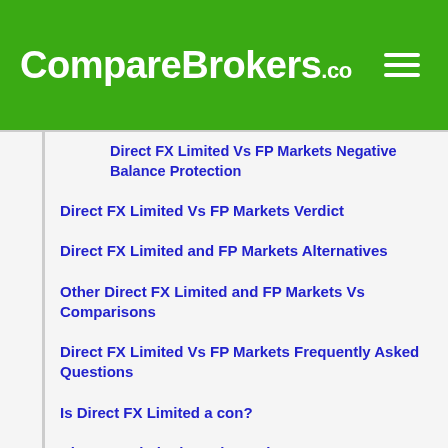CompareBrokers.co
Direct FX Limited Vs FP Markets Negative Balance Protection
Direct FX Limited Vs FP Markets Verdict
Direct FX Limited and FP Markets Alternatives
Other Direct FX Limited and FP Markets Vs Comparisons
Direct FX Limited Vs FP Markets Frequently Asked Questions
Is Direct FX Limited a con?
Direct FX Limited Vs Alternatives
FP Markets Vs Alternatives